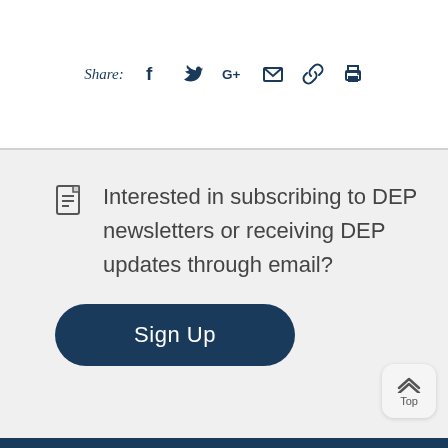Share: [facebook] [twitter] [google+] [email] [link] [print]
Interested in subscribing to DEP newsletters or receiving DEP updates through email?
Sign Up
Top